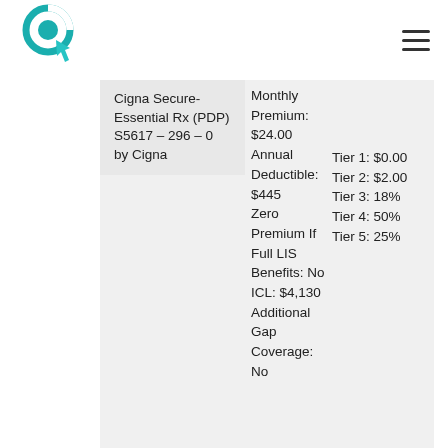[Figure (logo): Cigna/click logo with teal circular icon and cursor arrow]
Cigna Secure-Essential Rx (PDP) S5617 – 296 – 0 by Cigna
Monthly Premium: $24.00
Annual Deductible: $445
Zero Premium If Full LIS Benefits: No
ICL: $4,130
Additional Gap Coverage: No
Tier 1: $0.00
Tier 2: $2.00
Tier 3: 18%
Tier 4: 50%
Tier 5: 25%